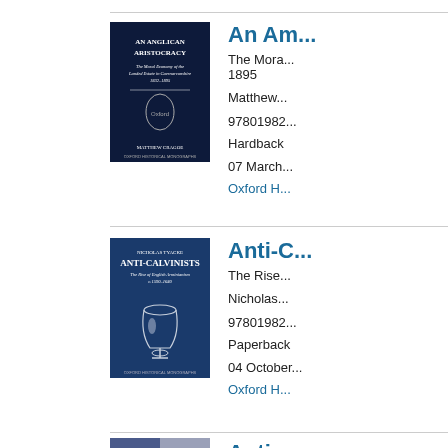[Figure (illustration): Book cover of 'An Anglican Aristocracy' by Matthew Cragoe, dark navy blue cover with Oxford Historical Monographs series]
An Am...
The Mora... 1895
Matthew...
97801982... Hardback 07 March Oxford H...
[Figure (illustration): Book cover of 'Anti-Calvinists' by Nicholas Tyacke, dark blue cover with chalice image, Oxford Historical Monographs series]
Anti-C...
The Rise...
Nicholas...
97801982... Paperback 04 October Oxford H...
[Figure (illustration): Partial book cover visible at bottom of page]